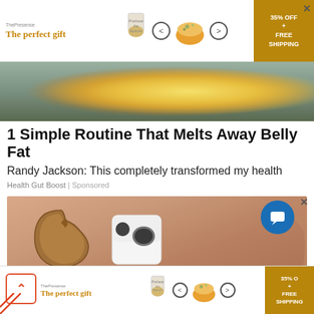[Figure (screenshot): Top advertising banner with 'The perfect gift' tagline, food bowl images, navigation arrows, and '35% OFF + FREE SHIPPING' offer with close button]
[Figure (photo): Photo strip showing a bowl of food with lemon slices, hands visible]
1 Simple Routine That Melts Away Belly Fat
Randy Jackson: This completely transformed my health
Health Gut Boost | Sponsored
[Figure (photo): Close-up photo of a hand holding a small white electronic device attached to a brown leather loop/strap]
[Figure (screenshot): Bottom advertising banner with 'The perfect gift' tagline, food bowl images, navigation arrows, '35% OFF + FREE SHIPPING' offer. Also shows back navigation button (red caret), blue chat bubble button with X close button, and red diagonal lines in lower left corner]